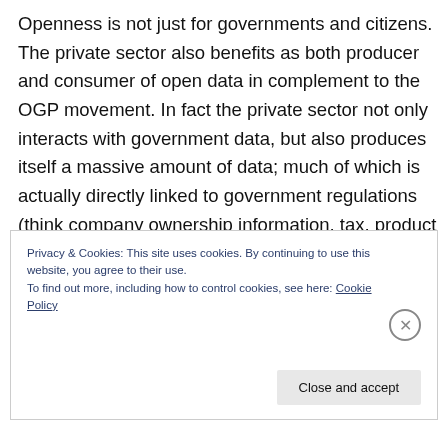Openness is not just for governments and citizens. The private sector also benefits as both producer and consumer of open data in complement to the OGP movement. In fact the private sector not only interacts with government data, but also produces itself a massive amount of data; much of which is actually directly linked to government regulations (think company ownership information, tax, product and ethical standards, labor and food safety compliance,
Privacy & Cookies: This site uses cookies. By continuing to use this website, you agree to their use.
To find out more, including how to control cookies, see here: Cookie Policy